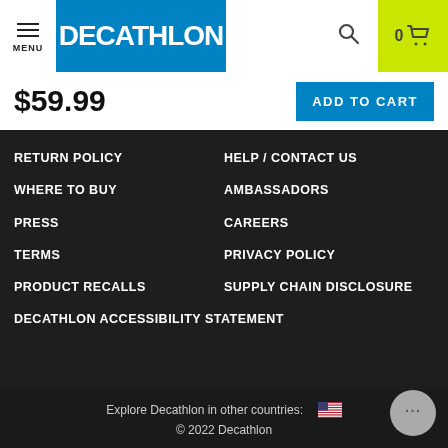[Figure (logo): Decathlon logo on blue background with hamburger menu icon on left]
$59.99
ADD TO CART
RETURN POLICY
HELP / CONTACT US
WHERE TO BUY
AMBASSADORS
PRESS
CAREERS
TERMS
PRIVACY POLICY
PRODUCT RECALLS
SUPPLY CHAIN DISCLOSURE
DECATHLON ACCESSIBILITY STATEMENT
Explore Decathlon in other countries: 🇺🇸
© 2022 Decathlon